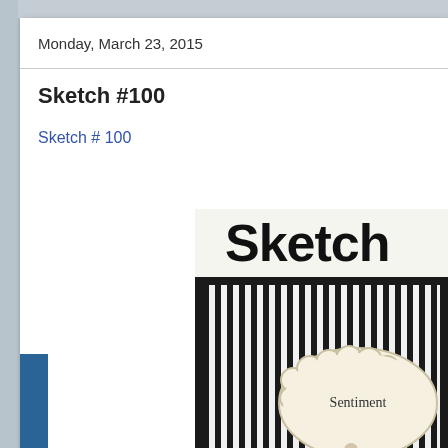Monday, March 23, 2015
Sketch #100
Sketch # 100
[Figure (illustration): A crafting sketch card design showing the word 'Sketch' in large bold text at the top, below which is a card with a black border containing a black-and-white vertical stripe pattern. Overlaid on the stripes is a decorative cloud/scallop-shaped sentiment bubble with the word 'Sentiment', and below it are beige/tan flower embellishments.]